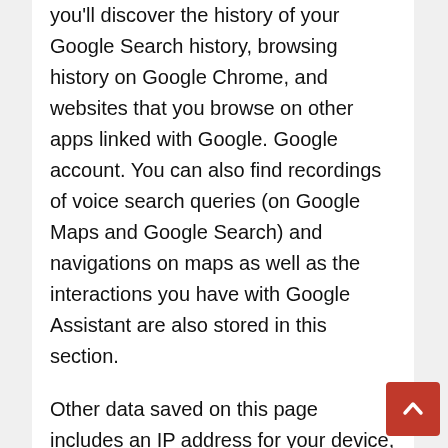you'll discover the history of your Google Search history, browsing history on Google Chrome, and websites that you browse on other apps linked with Google. Google account. You can also find recordings of voice search queries (on Google Maps and Google Search) and navigations on maps as well as the interactions you have with Google Assistant are also stored in this section.
Other data saved on this page includes an IP address for your device, the ads that you click on, and items you buy on the site of an advertiser. If you're using an Android smartphone, Google will save information regarding the device (battery degree, level of installed apps, and system errors, for